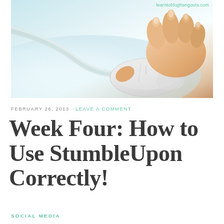[Figure (photo): Close-up photo of a hand using a white computer mouse on a light blue-white surface, with a cable visible. Website watermark 'learntobloghangouts.com' visible in top right corner.]
FEBRUARY 26, 2013 · LEAVE A COMMENT
Week Four: How to Use StumbleUpon Correctly!
SOCIAL MEDIA